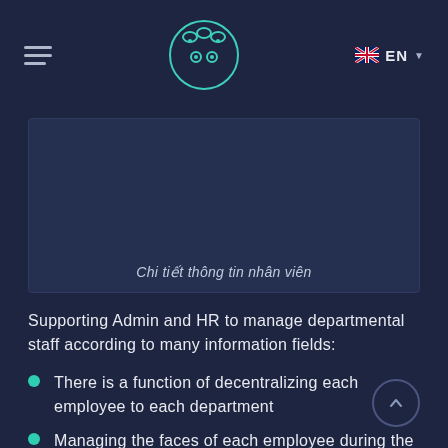EN
[Figure (screenshot): Screenshot of employee information detail page with Vietnamese caption 'Chi tiết thông tin nhân viên']
Chi tiết thông tin nhân viên
Supporting Admin and HR to manage departmental staff according to many information fields:
There is a function of decentralizing each employee to each department
Managing the faces of each employee during the